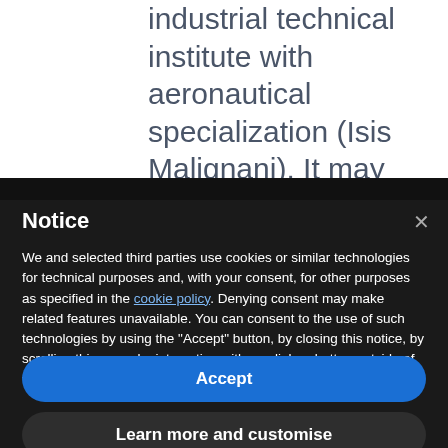industrial technical institute with aeronautical specialization (Isis Malignani). It may look odd to have studied something so diametrically
Notice
We and selected third parties use cookies or similar technologies for technical purposes and, with your consent, for other purposes as specified in the cookie policy. Denying consent may make related features unavailable. You can consent to the use of such technologies by using the "Accept" button, by closing this notice, by scrolling this page, by interacting with any link or button outside of this notice or by continuing to browse otherwise.
Accept
Learn more and customise